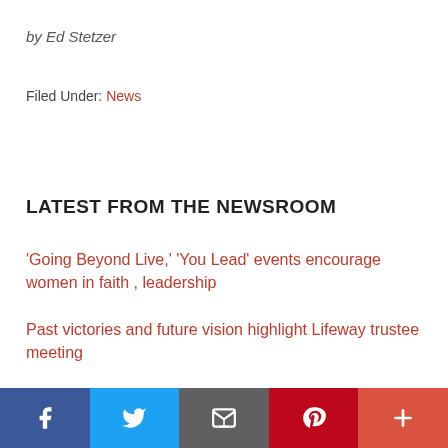by Ed Stetzer
Filed Under: News
LATEST FROM THE NEWSROOM
'Going Beyond Live,' 'You Lead' events encourage women in faith , leadership
Past victories and future vision highlight Lifeway trustee meeting
SBC pastor pay stuck at same level since 2018